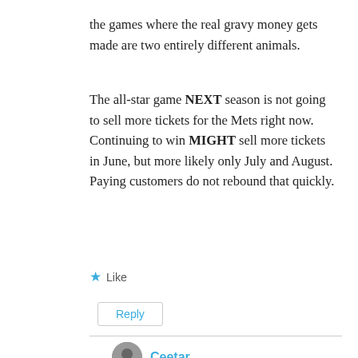the games where the real gravy money gets made are two entirely different animals.
The all-star game NEXT season is not going to sell more tickets for the Mets right now. Continuing to win MIGHT sell more tickets in June, but more likely only July and August. Paying customers do not rebound that quickly.
★ Like
Reply
Ceetar